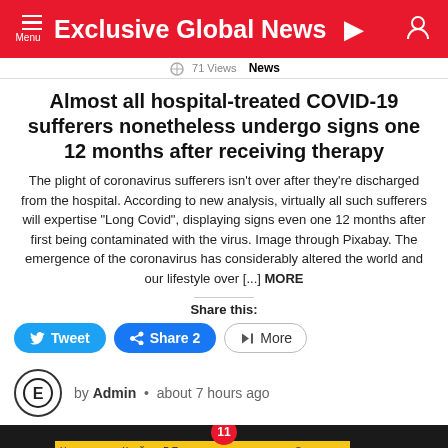Exclusive Global News
71 Views   News
Almost all hospital-treated COVID-19 sufferers nonetheless undergo signs one 12 months after receiving therapy
The plight of coronavirus sufferers isn't over after they're discharged from the hospital. According to new analysis, virtually all such sufferers will expertise "Long Covid", displaying signs even one 12 months after first being contaminated with the virus. Image through Pixabay. The emergence of the coronavirus has considerably altered the world and our lifestyle over [...] MORE
Share this:
Tweet   Share 2   More
by Admin • about 7 hours ago
[Figure (screenshot): Bottom video thumbnail showing Russian news broadcast with timestamp 13:43 and yellow ticker text in Russian, channel logo РОССИЯ showing notification badge 11]